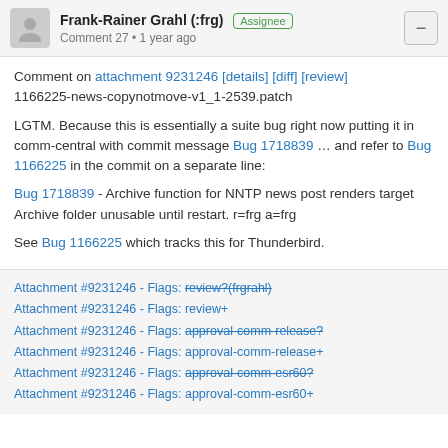Frank-Rainer Grahl (:frg) [Assignee] Comment 27 • 1 year ago
Comment on attachment 9231246 [details] [diff] [review]
1166225-news-copynotmove-v1_1-2539.patch
LGTM. Because this is essentially a suite bug right now putting it in comm-central with commit message Bug 1718839 … and refer to Bug 1166225 in the commit on a separate line:
Bug 1718839 - Archive function for NNTP news post renders target Archive folder unusable until restart. r=frg a=frg
See Bug 1166225 which tracks this for Thunderbird.
Attachment #9231246 - Flags: review?(frgrahl)
Attachment #9231246 - Flags: review+
Attachment #9231246 - Flags: approval-comm-release?
Attachment #9231246 - Flags: approval-comm-release+
Attachment #9231246 - Flags: approval-comm-esr60?
Attachment #9231246 - Flags: approval-comm-esr60+